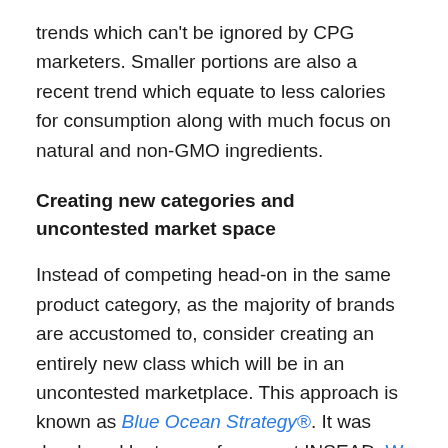trends which can't be ignored by CPG marketers. Smaller portions are also a recent trend which equate to less calories for consumption along with much focus on natural and non-GMO ingredients.
Creating new categories and uncontested market space
Instead of competing head-on in the same product category, as the majority of brands are accustomed to, consider creating an entirely new class which will be in an uncontested marketplace. This approach is known as Blue Ocean Strategy®. It was developed by two professors at INSEAD, W. Chan Kim and Renée Mauborgne who are also co-authors of Blue Ocean Strategy: How to Create Uncontested Market Space and Make the Competition Irrelevant (Harvard Business Review Press). As they put it,